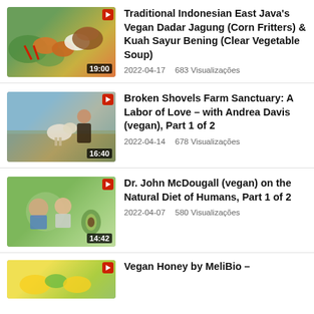Traditional Indonesian East Java's Vegan Dadar Jagung (Corn Fritters) & Kuah Sayur Bening (Clear Vegetable Soup) | 2022-04-17 | 683 Visualizações | 19:00
Broken Shovels Farm Sanctuary: A Labor of Love – with Andrea Davis (vegan), Part 1 of 2 | 2022-04-14 | 678 Visualizações | 16:40
Dr. John McDougall (vegan) on the Natural Diet of Humans, Part 1 of 2 | 2022-04-07 | 580 Visualizações | 14:42
Vegan Honey by MeliBio –